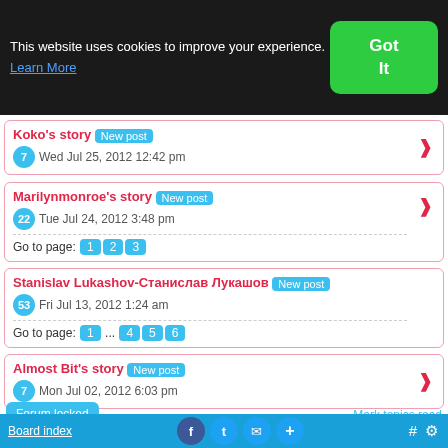This website uses cookies to improve your experience. Learn More
Koko's story [New post] 7 Wed Jul 25, 2012 12:42 pm
Marilynmonroe's story [New post] 22 Tue Jul 24, 2012 3:48 pm — Go to page: 1 2 3
Stanislav Lukashov-Станислав Лукашов [New post] 53 Fri Jul 13, 2012 1:24 am — Go to page: 1 ... 4 5 6
Almost Bit's story [New post] 7 Mon Jul 02, 2012 6:03 pm
Forum locked
Mark topics read
Jump to: Tell your story here.  Go
Switch to full style
Board index  # ⚙